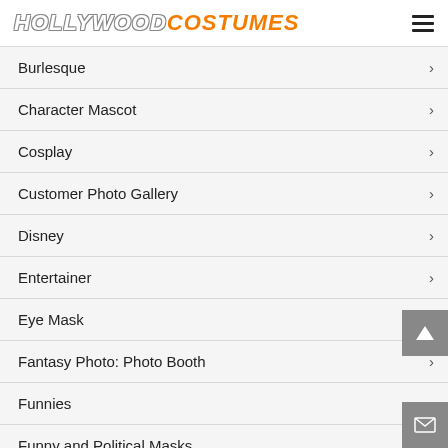HOLLYWOOD COSTUMES
Burlesque
Character Mascot
Cosplay
Customer Photo Gallery
Disney
Entertainer
Eye Mask
Fantasy Photo: Photo Booth
Funnies
Funny and Political Masks